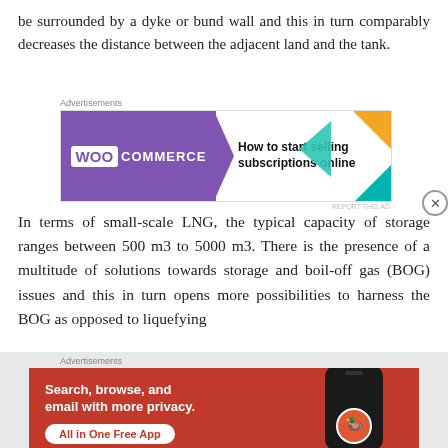be surrounded by a dyke or bund wall and this in turn comparably decreases the distance between the adjacent land and the tank.
[Figure (other): WooCommerce advertisement banner: 'How to start selling subscriptions online']
In terms of small-scale LNG, the typical capacity of storage ranges between 500 m3 to 5000 m3. There is the presence of a multitude of solutions towards storage and boil-off gas (BOG) issues and this in turn opens more possibilities to harness the BOG as opposed to liquefying
[Figure (other): DuckDuckGo advertisement: 'Search, browse, and email with more privacy. All in One Free App']